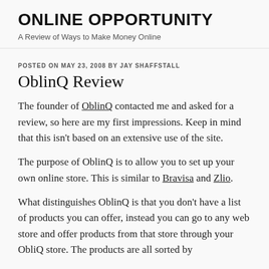ONLINE OPPORTUNITY
A Review of Ways to Make Money Online
POSTED ON MAY 23, 2008 BY JAY SHAFFSTALL
OblinQ Review
The founder of OblinQ contacted me and asked for a review, so here are my first impressions. Keep in mind that this isn't based on an extensive use of the site.
The purpose of OblinQ is to allow you to set up your own online store. This is similar to Bravisa and Zlio.
What distinguishes OblinQ is that you don't have a list of products you can offer, instead you can go to any web store and offer products from that store through your OblinQ store. The products are all sorted by